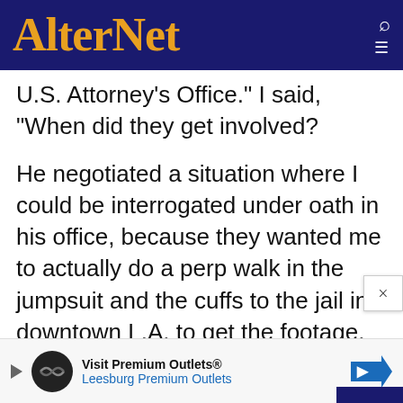AlterNet
U.S. Attorney's Office." I said, "When did they get involved?
He negotiated a situation where I could be interrogated under oath in his office, because they wanted me to actually do a perp walk in the jumpsuit and the cuffs to the jail in downtown L.A. to get the footage. That's w... I lost it. That's when it did cost me hundreds of thousands of dollars in legal fees. But truly, I
[Figure (screenshot): Advertisement banner for Premium Outlets - Visit Premium Outlets, Leesburg Premium Outlets, with circular logo and directional sign icon]